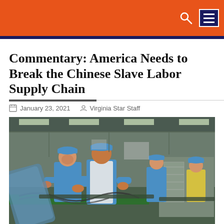Virginia Star — navigation header with search and menu icons
Commentary: America Needs to Break the Chinese Slave Labor Supply Chain
January 23, 2021   Virginia Star Staff
[Figure (photo): Workers in blue caps and uniforms working on an assembly line in a Chinese factory, handling electronics components on a green conveyor belt.]